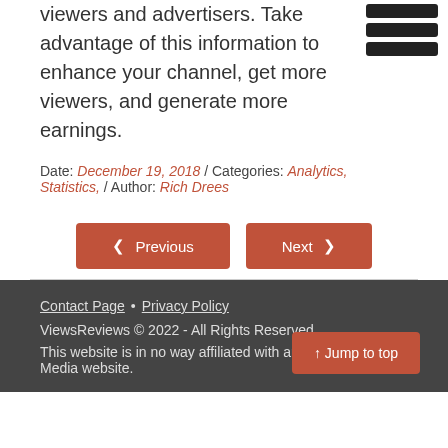viewers and advertisers. Take advantage of this information to enhance your channel, get more viewers, and generate more earnings.
Date: December 19, 2018 / Categories: Analytics, Statistics, / Author: Rich Drees
Previous | Next
Contact Page • Privacy Policy
ViewsReviews © 2022 - All Rights Reserved.
This website is in no way affiliated with any other Social Media website.
Jump to top